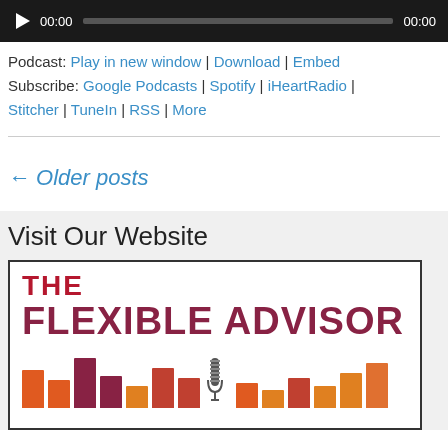[Figure (other): Audio player with play button, time labels (00:00), and progress bar on dark background]
Podcast: Play in new window | Download | Embed
Subscribe: Google Podcasts | Spotify | iHeartRadio | Stitcher | TuneIn | RSS | More
← Older posts
Visit Our Website
[Figure (logo): The Flexible Advisor podcast logo with colored bar chart graphic and microphone illustration]